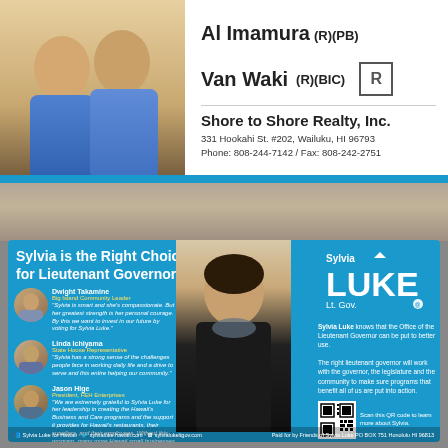[Figure (photo): Two men in blue shirts smiling, headshots for real estate ad]
Al Imamura (R)(PB)
Van Waki (R)(BIC)
Shore to Shore Realty, Inc.
331 Hookahi St. #202, Wailuku, HI 96793
Phone: 808-244-7142 / Fax: 808-242-2751
Sylvia is the Right Choice for Lieutenant Governor
[Figure (photo): Dwight Takamine, Big Island Community Leader, circular headshot]
Dwight Takamine
Big Island Community Leader
"Sylvia is smart and she's compassionate. But her greatest strength is her personal courage. By this we want to invest in our future by voting for Sylvia Luke."
[Figure (photo): Linda Ichiyama, State House Representative, circular headshot]
Linda Ichiyama
State House Representative
"Sylvia has a strong sense of the challenges people face in working daily life and a drive to serve and this entire helping our community."
[Figure (photo): Jason Hige, President FEH Enterprises, circular headshot]
Jason Hige
President, FEH Enterprises
"We are extremely grateful to Sylvia Luke for her leadership in creating the Hawaii's Business and Care programs and the support it provides for Hawaii's restaurants, their suppliers, and their employees. Without this program, many more Hawaii small businesses would have closed today."
[Figure (photo): Sylvia Luke candidate photo, woman in black dress]
[Figure (logo): Sylvia LUKE Lt. Gov. campaign logo with Hawaii map icon]
Sylvia Luke knows that the Office of the Lieutenant Governor can be put to better use.

The right lieutenant governor will work with the governor, the legislature and the community to make sure programs that benefit all of us are put into action.
[Figure (other): QR code for Sylvia Luke campaign website]
Scan this QR code to learn more about Sylvia.
Sylvia Luke for Hawaii · sylvialuke.hawaii.com · sylvialukeltgov.com
Paid for by Friends of Sylvia Luke PO BOX 751 Honolulu HI 96813